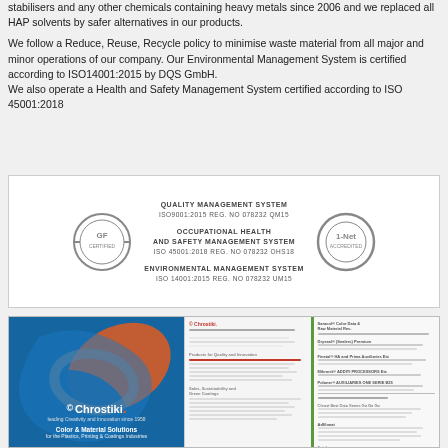stabilisers and any other chemicals containing heavy metals since 2006 and we replaced all HAP solvents by safer alternatives in our products.
We follow a Reduce, Reuse, Recycle policy to minimise waste material from all major and minor operations of our company. Our Environmental Management System is certified according to ISO14001:2015 by DQS GmbH.
We also operate a Health and Safety Management System certified according to ISO 45001:2018
[Figure (other): Certification logos box showing Quality Management System ISO9001:2015 REG. No 078232 QM15, Occupational Health and Safety Management System ISO 45001:2018 REG. No 078232 OHS18, Environmental Management System ISO 14001:2015 REG. No 078232 UM15, with two circular certification logos on either side.]
[Figure (photo): Photo showing the Chrostiki brand catalog with blue and orange swirl design on the cover labeled Color & Material Solutions for the Plastics, Printing & Coatings Industries, alongside open pages of the catalog showing product listings and data tables.]